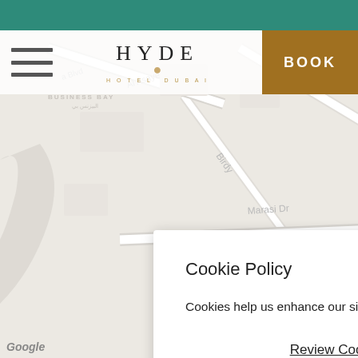[Figure (map): Google Maps view showing Business Bay, Dubai area with streets: Al Asayel St, Birdy, Marasi Dr labeled on the map background]
[Figure (logo): HYDE Hotel Dubai logo with stylized text and location pin icon]
Cookie Policy
Cookies help us enhance our site, allow us to analyze our traffic, and deliver personalized content.
Review Cookie Settings
Close X